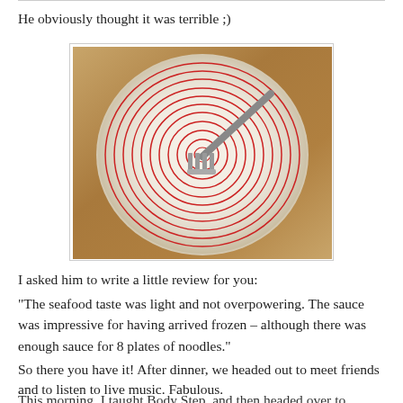He obviously thought it was terrible ;)
[Figure (photo): An empty bowl with red concentric ring pattern, a fork resting inside it, on a wooden table surface]
I asked him to write a little review for you:
“The seafood taste was light and not overpowering. The sauce was impressive for having arrived frozen – although there was enough sauce for 8 plates of noodles.”
So there you have it! After dinner, we headed out to meet friends and to listen to live music. Fabulous.
This morning, I taught Body Step, and then headed over to